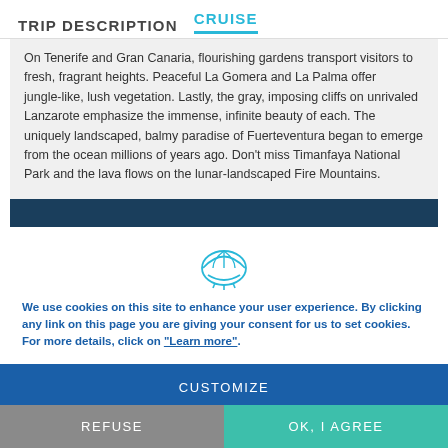TRIP DESCRIPTION   CRUISE
On Tenerife and Gran Canaria, flourishing gardens transport visitors to fresh, fragrant heights. Peaceful La Gomera and La Palma offer jungle-like, lush vegetation. Lastly, the gray, imposing cliffs on unrivaled Lanzarote emphasize the immense, infinite beauty of each. The uniquely landscaped, balmy paradise of Fuerteventura began to emerge from the ocean millions of years ago. Don't miss Timanfaya National Park and the lava flows on the lunar-landscaped Fire Mountains.
[Figure (illustration): Shell / cruise line logo icon outline]
We use cookies on this site to enhance your user experience. By clicking any link on this page you are giving your consent for us to set cookies. For more details, click on "Learn more".
CUSTOMIZE
REFUSE
OK, I AGREE